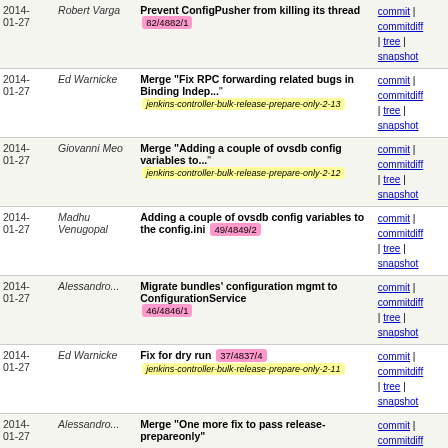| Date | Author | Message | Links |
| --- | --- | --- | --- |
| 2014-01-27 | Robert Varga | Prevent ConfigPusher from killing its thread 82/4882/1 | commit | commitdiff | tree | snapshot |
| 2014-01-27 | Ed Warnicke | Merge "Fix RPC forwarding related bugs in Binding Indep..." jenkins-controller-bulk-release-prepare-only-2-13 | commit | commitdiff | tree | snapshot |
| 2014-01-27 | Giovanni Meo | Merge "Adding a couple of ovsdb config variables to..." jenkins-controller-bulk-release-prepare-only-2-12 | commit | commitdiff | tree | snapshot |
| 2014-01-27 | Madhu Venugopal | Adding a couple of ovsdb config variables to the config.ini 49/4849/2 | commit | commitdiff | tree | snapshot |
| 2014-01-27 | Alessandro... | Migrate bundles' configuration mgmt to ConfigurationService 46/4846/1 | commit | commitdiff | tree | snapshot |
| 2014-01-27 | Ed Warnicke | Fix for dry run 37/4837/4 jenkins-controller-bulk-release-prepare-only-2-11 | commit | commitdiff | tree | snapshot |
| 2014-01-27 | Alessandro... | Merge "One more fix to pass release-prepareonly" | commit | commitdiff | tree | snapshot |
| 2014-01-26 | Ed Warnicke | Merge "Gerrit contains following fixes: 1) Fix for..." | commit | commitdiff | tree | snapshot |
| 2014-01-26 | Ed Warnicke | Merge "Changed multimaps to synchronized multimaps" | commit | commitdiff | tree | snapshot |
| 2014-01-26 | Robert Varga | Bulk-add copyright headers to java files 34/4834/2 | commit | commitdiff | tree | snapshot |